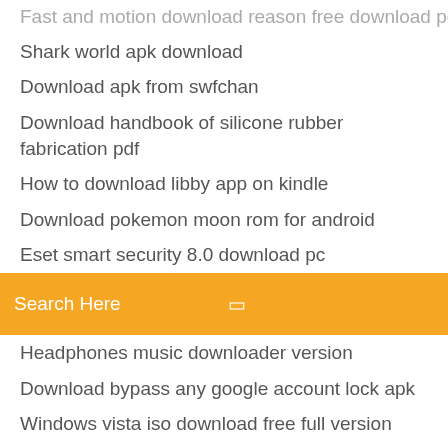Shark world apk download
Download apk from swfchan
Download handbook of silicone rubber fabrication pdf
How to download libby app on kindle
Download pokemon moon rom for android
Eset smart security 8.0 download pc
Search Here
Headphones music downloader version
Download bypass any google account lock apk
Windows vista iso download free full version
Avast safe file download scanning
Aws practice exam questions pdf download
Ios 11.3.1 iphone 6s download
Download idm terbaru windows 10
Logitech 720p webcam driver free download
Hot rod pc game download
Cr2 file full version download